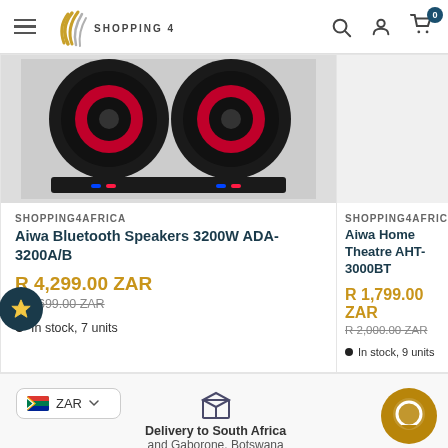Shopping 4 Africa
[Figure (photo): Aiwa Bluetooth Speakers 3200W product image]
SHOPPING4AFRICA
Aiwa Bluetooth Speakers 3200W ADA-3200A/B
R 4,299.00 ZAR
R 4,699.00 ZAR
In stock, 7 units
SHOPPING4AFRICA
Aiwa Home Theatre AHT-3000BT
R 1,799.00 ZAR
R 2,000.00 ZAR
In stock, 9 units
ZAR
Delivery to South Africa and Gaborone, Botswana